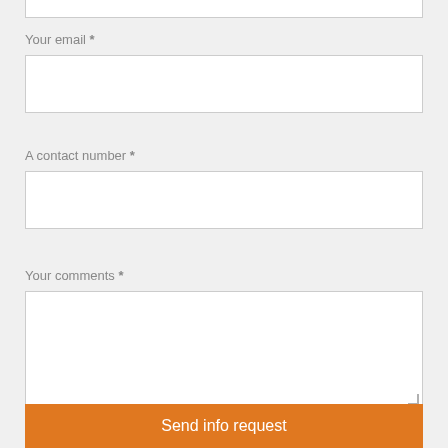Your email *
A contact number *
Your comments *
Send info request